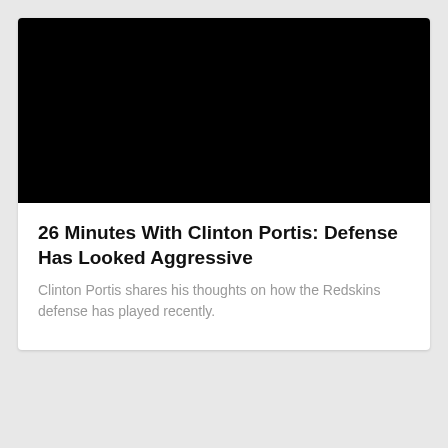[Figure (photo): Black rectangular image area, likely a video thumbnail placeholder]
26 Minutes With Clinton Portis: Defense Has Looked Aggressive
Clinton Portis shares his thoughts on how the Redskins defense has played recently.